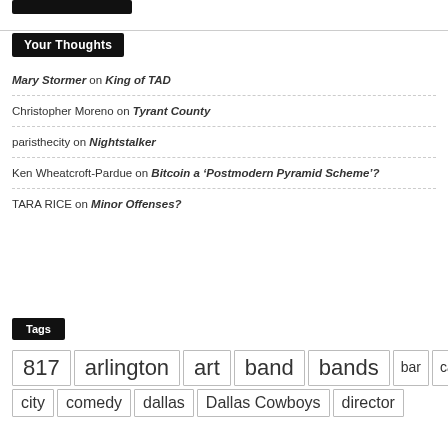Your Thoughts
Mary Stormer on King of TAD
Christopher Moreno on Tyrant County
paristhecity on Nightstalker
Ken Wheatcroft-Pardue on Bitcoin a ‘Postmodern Pyramid Scheme’?
TARA RICE on Minor Offenses?
Tags
817, arlington, art, band, bands, bar, call, city, comedy, dallas, Dallas Cowboys, director